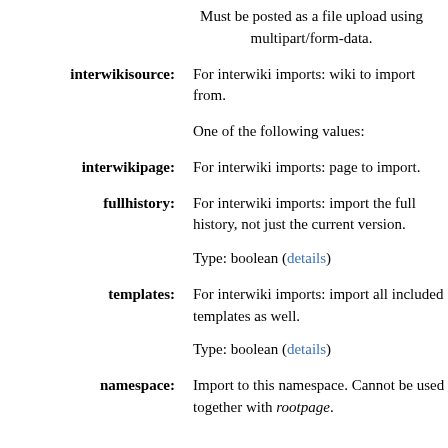Must be posted as a file upload using multipart/form-data.
interwikisource: For interwiki imports: wiki to import from.
One of the following values:
interwikipage: For interwiki imports: page to import.
fullhistory: For interwiki imports: import the full history, not just the current version.
Type: boolean (details)
templates: For interwiki imports: import all included templates as well.
Type: boolean (details)
namespace: Import to this namespace. Cannot be used together with rootpage.